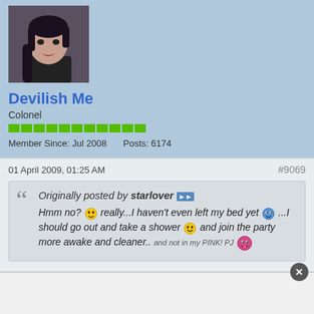[Figure (photo): Profile avatar photo of a woman with dark hair and red lips against a dark background]
Devilish Me
Colonel
Member Since: Jul 2008   Posts: 6174
01 April 2009, 01:25 AM   #9069
Originally posted by starlover
Hmm no? really...I haven't even left my bed yet...I should go out and take a shower and join the party more awake and cleaner.. and not in my PINK! PJ